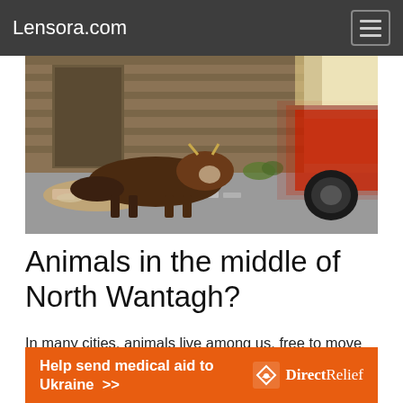Lensora.com
[Figure (photo): A cow lying among garbage and litter on a city street, with a passing car blurred in motion to the right and a weathered wooden building in the background.]
Animals in the middle of North Wantagh?
In many cities, animals live among us, free to move as they please. The animals often leave an impression, so see if you can capture the animals where it is clear in which environment they were.
Help send medical aid to Ukraine >> Direct Relief